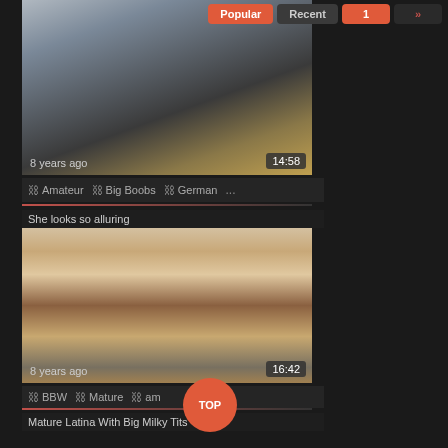[Figure (screenshot): Video thumbnail showing partial view of person, close-up body shot]
8 years ago
14:58
Amateur  Big Boobs  German  ...
She looks so alluring
[Figure (screenshot): Video thumbnail showing a woman with red hair sitting in a chair]
8 years ago
16:42
BBW  Mature  ...am
TOP
Mature Latina With Big Milky Tits